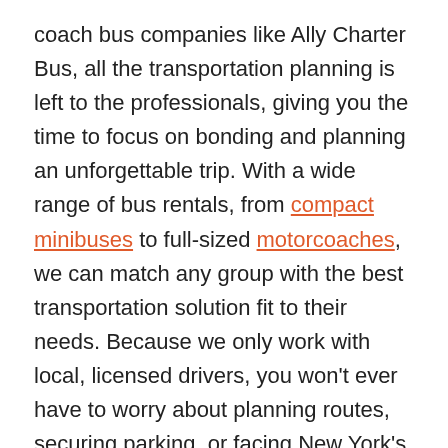coach bus companies like Ally Charter Bus, all the transportation planning is left to the professionals, giving you the time to focus on bonding and planning an unforgettable trip. With a wide range of bus rentals, from compact minibuses to full-sized motorcoaches, we can match any group with the best transportation solution fit to their needs. Because we only work with local, licensed drivers, you won't ever have to worry about planning routes, securing parking, or facing New York's hectic traffic on your own.
Booking is easy! Read our FAQ to learn more about our process, or, call our 24/7 reservation team at 718-922-4219